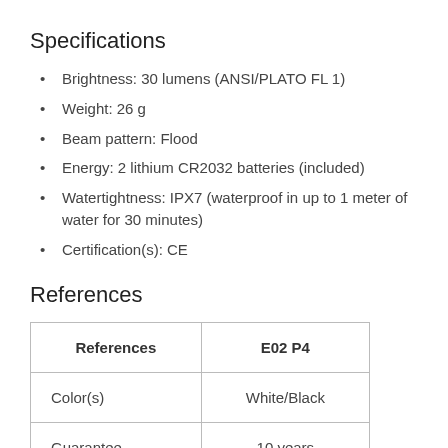Specifications
Brightness: 30 lumens (ANSI/PLATO FL 1)
Weight: 26 g
Beam pattern: Flood
Energy: 2 lithium CR2032 batteries (included)
Watertightness: IPX7 (waterproof in up to 1 meter of water for 30 minutes)
Certification(s): CE
References
| References | E02 P4 |
| --- | --- |
| Color(s) | White/Black |
| Guarantee | 10 years |